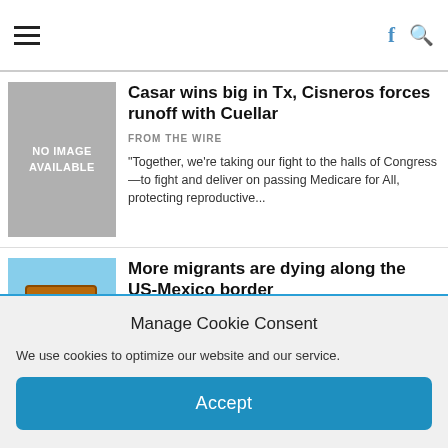Casar wins big in Tx, Cisneros forces runoff with Cuellar
FROM THE WIRE
"Together, we're taking our fight to the halls of Congress—to fight and deliver on passing Medicare for All, protecting reproductive...
[Figure (photo): Desert landscape with a warning sign on a post, mountains in background, US-Mexico border area]
More migrants are dying along the US-Mexico border
FROM THE WIRE
A Spanish-language sign warns migrants along the U.S.-Mexico border against explsing themselves to the dangerous elements in the desert.  David...
Manage Cookie Consent
We use cookies to optimize our website and our service.
Accept